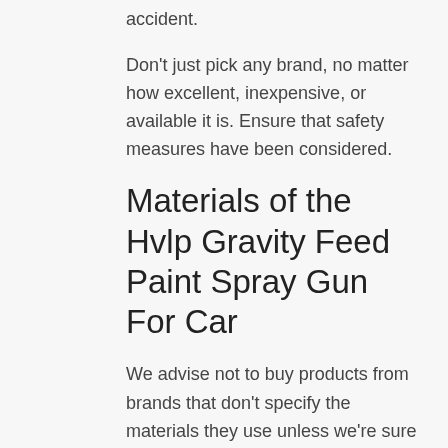accident.
Don't just pick any brand, no matter how excellent, inexpensive, or available it is. Ensure that safety measures have been considered.
Materials of the Hvlp Gravity Feed Paint Spray Gun For Car
We advise not to buy products from brands that don't specify the materials they use unless we're sure the product is made with good quality materials. It's important to be confident about your purchase from